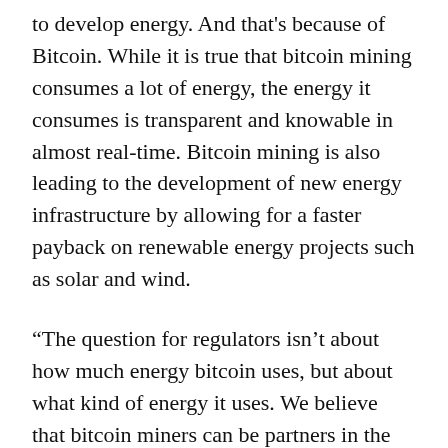to develop energy. And that's because of Bitcoin. While it is true that bitcoin mining consumes a lot of energy, the energy it consumes is transparent and knowable in almost real-time. Bitcoin mining is also leading to the development of new energy infrastructure by allowing for a faster payback on renewable energy projects such as solar and wind.
“The question for regulators isn’t about how much energy bitcoin uses, but about what kind of energy it uses. We believe that bitcoin miners can be partners in the important work of decarbonizing our economy.”
About CleanSpark
CleanSpark, Inc., a Nevada corporation, is a sustainable bitcoin mining and energy technology company that is solving modern energy